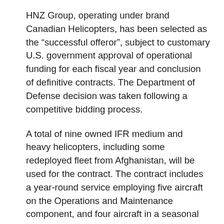HNZ Group, operating under brand Canadian Helicopters, has been selected as the “successful offeror”, subject to customary U.S. government approval of operational funding for each fiscal year and conclusion of definitive contracts. The Department of Defense decision was taken following a competitive bidding process.
A total of nine owned IFR medium and heavy helicopters, including some redeployed fleet from Afghanistan, will be used for the contract. The contract includes a year-round service employing five aircraft on the Operations and Maintenance component, and four aircraft in a seasonal capacity servicing the Bulk Fuel and Supplemental components with various commencement dates. Canadian Helicopters is the current service